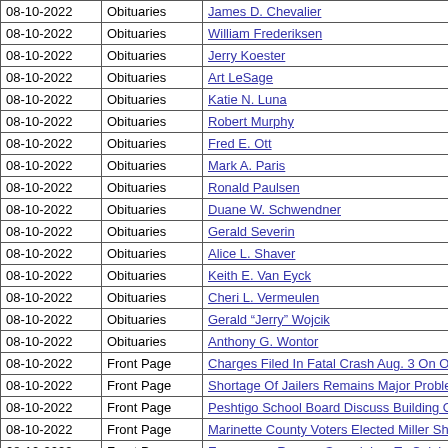| Date | Section | Article |
| --- | --- | --- |
| 08-10-2022 | Obituaries | James D. Chevalier |
| 08-10-2022 | Obituaries | William Frederiksen |
| 08-10-2022 | Obituaries | Jerry Koester |
| 08-10-2022 | Obituaries | Art LeSage |
| 08-10-2022 | Obituaries | Katie N. Luna |
| 08-10-2022 | Obituaries | Robert Murphy |
| 08-10-2022 | Obituaries | Fred E. Ott |
| 08-10-2022 | Obituaries | Mark A. Paris |
| 08-10-2022 | Obituaries | Ronald Paulsen |
| 08-10-2022 | Obituaries | Duane W. Schwendner |
| 08-10-2022 | Obituaries | Gerald Severin |
| 08-10-2022 | Obituaries | Alice L. Shaver |
| 08-10-2022 | Obituaries | Keith E. Van Eyck |
| 08-10-2022 | Obituaries | Cheri L. Vermeulen |
| 08-10-2022 | Obituaries | Gerald "Jerry" Wojcik |
| 08-10-2022 | Obituaries | Anthony G. Wontor |
| 08-10-2022 | Front Page | Charges Filed In Fatal Crash Aug. 3 On Oconto F... |
| 08-10-2022 | Front Page | Shortage Of Jailers Remains Major Problem For ... |
| 08-10-2022 | Front Page | Peshtigo School Board Discuss Building Options |
| 08-10-2022 | Front Page | Marinette County Voters Elected Miller Sheriff, Br... |
| 08-10-2022 | Front Page | Emergency Rescue Squad, Inc. To Celebrate 75 ... |
| 08-10-2022 | Perspectives | Ken Stodola's Letter to the Editor |